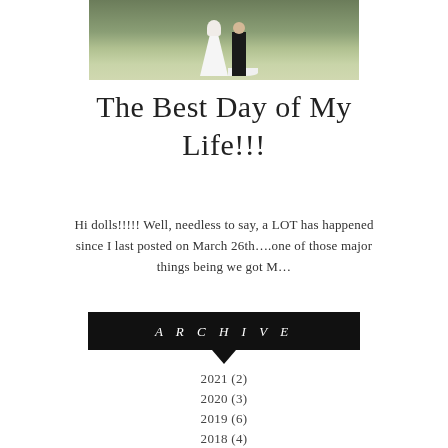[Figure (photo): Wedding photo showing bride and groom standing on a path outdoors with greenery in the background. Bride is in a white gown with a long train.]
The Best Day of My Life!!!
Hi dolls!!!!! Well, needless to say, a LOT has happened since I last posted on March 26th….one of those major things being we got M…
ARCHIVE
2021 (2)
2020 (3)
2019 (6)
2018 (4)
2017 (61)
2016 (26)
2015 (11)